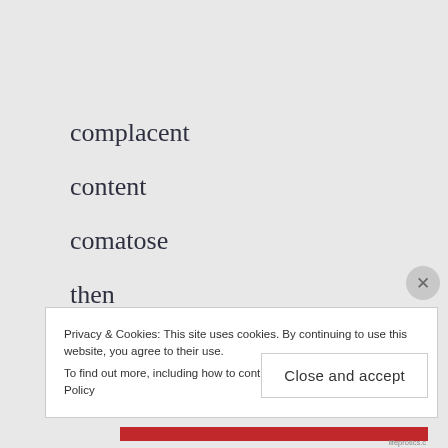complacent
content
comatose
then
I look inward and whisper
to him, to wake
Privacy & Cookies: This site uses cookies. By continuing to use this website, you agree to their use.
To find out more, including how to control cookies, see here: Cookie Policy
Close and accept